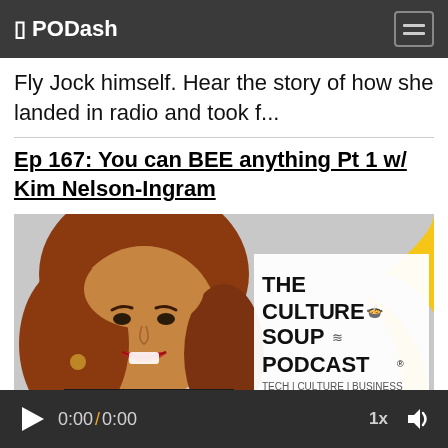⬛ PODash
Fly Jock himself. Hear the story of how she landed in radio and took f...
Ep 167: You can BEE anything Pt 1 w/ Kim Nelson-Ingram
[Figure (photo): Podcast cover image showing a woman with auburn/red hair smiling, alongside The Culture Soup Podcast logo with text 'TECH | CULTURE | BUSINESS']
0:00 / 0:00   1x